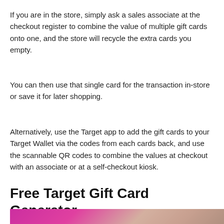If you are in the store, simply ask a sales associate at the checkout register to combine the value of multiple gift cards onto one, and the store will recycle the extra cards you empty.
You can then use that single card for the transaction in-store or save it for later shopping.
Alternatively, use the Target app to add the gift cards to your Target Wallet via the codes from each cards back, and use the scannable QR codes to combine the values at checkout with an associate or at a self-checkout kiosk.
Free Target Gift Card Generator
[Figure (photo): Partial image of a Target gift card with pink/magenta and tan/beige coloring visible at the bottom of the page]